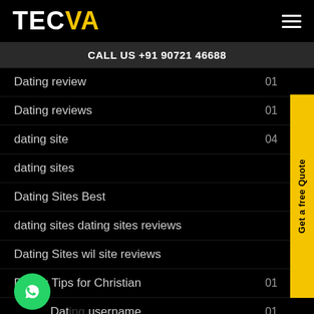[Figure (logo): TECVA logo with TEC in white and VA in yellow, hamburger menu icon top right]
CALL US +91 90721 46688
Dating review  01
Dating reviews  01
dating site  04
dating sites
Dating Sites Best
dating sites dating sites reviews
Dating Sites wil site reviews
Dating Tips for Christian  01
Dating username  01
Dating Wissens over here  01